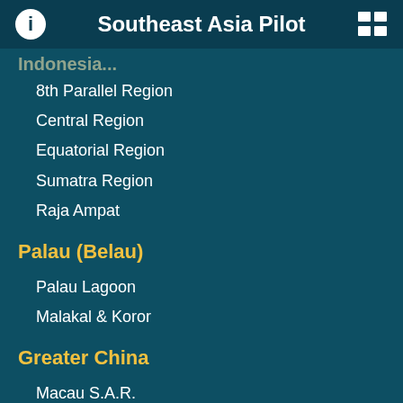Southeast Asia Pilot
Indonesia (partial/truncated)
8th Parallel Region
Central Region
Equatorial Region
Sumatra Region
Raja Ampat
Palau (Belau)
Palau Lagoon
Malakal & Koror
Greater China
Macau S.A.R.
Hong Kong S.A.R.
Hainan Island
Greater Bay Area
Taiwan Island
Fujian to Liaoning
The Philippines
Manila & Puerto Galera